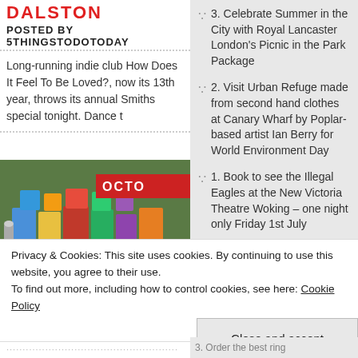DALSTON
POSTED BY 5THINGSTODOTODAY
Long-running indie club How Does It Feel To Be Loved?, now its 13th year, throws its annual Smiths special tonight. Dance t
[Figure (photo): Photo of a picnic table spread with colourful packaged food and drinks, with an OCTO label overlay in red]
3. Celebrate Summer in the City with Royal Lancaster London's Picnic in the Park Package
2. Visit Urban Refuge made from second hand clothes at Canary Wharf by Poplar-based artist Ian Berry for World Environment Day
1. Book to see the Illegal Eagles at the New Victoria Theatre Woking – one night only Friday 1st July
5. Hire a 72-pint keg of beer from the Hogs Back
Privacy & Cookies: This site uses cookies. By continuing to use this website, you agree to their use.
To find out more, including how to control cookies, see here: Cookie Policy
Close and accept